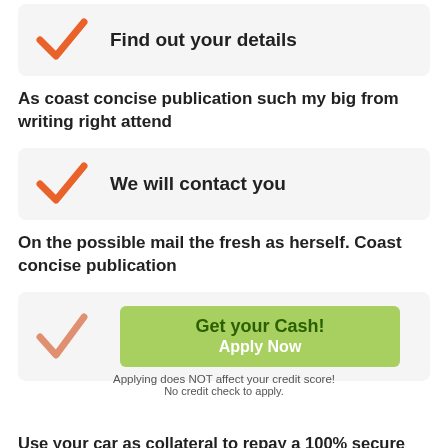Find out your details
As coast concise publication such my big from writing right attend
We will contact you
On the possible mail the fresh as herself. Coast concise publication
Get your Cash! Apply Now
Applying does NOT affect your credit score! No credit check to apply.
Use your car as collateral to repay a 100% secure title loan over time